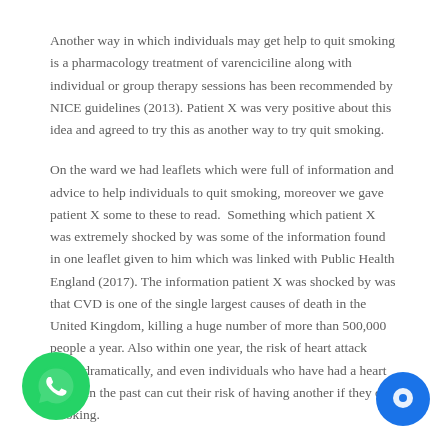Another way in which individuals may get help to quit smoking is a pharmacology treatment of varenciciline along with individual or group therapy sessions has been recommended by NICE guidelines (2013). Patient X was very positive about this idea and agreed to try this as another way to try quit smoking.
On the ward we had leaflets which were full of information and advice to help individuals to quit smoking, moreover we gave patient X some to these to read. Something which patient X was extremely shocked by was some of the information found in one leaflet given to him which was linked with Public Health England (2017). The information patient X was shocked by was that CVD is one of the single largest causes of death in the United Kingdom, killing a huge number of more than 500,000 people a year. Also within one year, the risk of heart attack drops dramatically, and even individuals who have had a heart attack in the past can cut their risk of having another if they quit smoking.
[Figure (logo): WhatsApp green circular button icon in bottom-left corner]
[Figure (logo): Blue circular chat/messenger button icon in bottom-right corner]